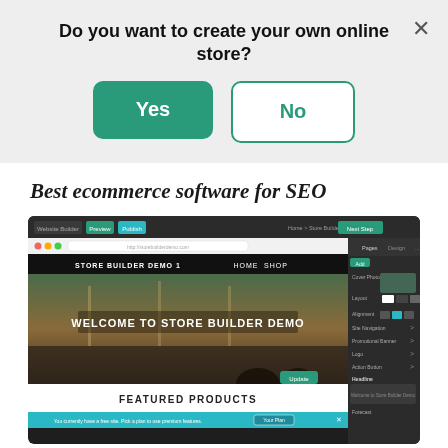Do you want to create your own online store?
[Figure (screenshot): Dialog box with Yes (green filled) and No (green outlined) buttons on a light grey background, with an X close button in the top right.]
Best ecommerce software for SEO
[Figure (screenshot): Screenshot of a website builder interface showing 'Welcome to Store Builder Demo' on a dark hero image, with a right panel showing design options. A 'Featured Products' section is visible below.]